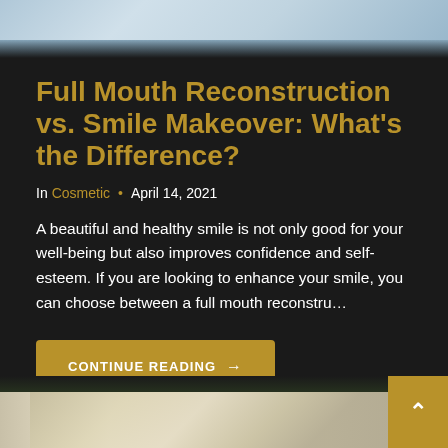[Figure (photo): Top portion of photo showing two people in light blue shirts, cropped at the top of the page]
Full Mouth Reconstruction vs. Smile Makeover: What's the Difference?
In Cosmetic • April 14, 2021
A beautiful and healthy smile is not only good for your well-being but also improves confidence and self-esteem. If you are looking to enhance your smile, you can choose between a full mouth reconstru…
CONTINUE READING →
[Figure (photo): Bottom portion of page showing an older couple outdoors with green background, partially visible]